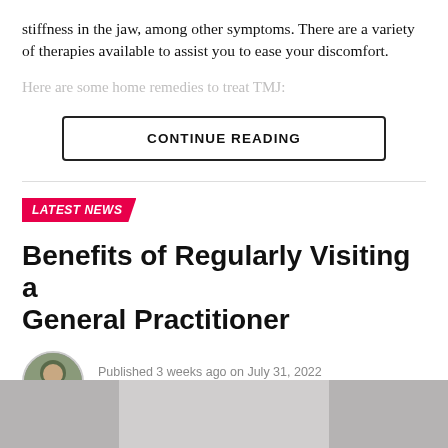stiffness in the jaw, among other symptoms. There are a variety of therapies available to assist you to ease your discomfort.
Here are some home remedies to treat TMJ:
CONTINUE READING
LATEST NEWS
Benefits of Regularly Visiting a General Practitioner
Published 3 weeks ago on July 31, 2022
By Umar Nisar
[Figure (photo): Bottom image showing a doctor or medical setting, partially visible]